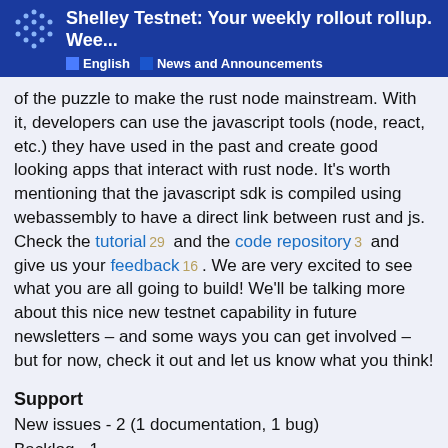Shelley Testnet: Your weekly rollout rollup. Wee... | English | News and Announcements
of the puzzle to make the rust node mainstream. With it, developers can use the javascript tools (node, react, etc.) they have used in the past and create good looking apps that interact with rust node. It's worth mentioning that the javascript sdk is compiled using webassembly to have a direct link between rust and js. Check the tutorial 29 and the code repository 3 and give us your feedback 16 . We are very excited to see what you are all going to build! We'll be talking more about this nice new testnet capability in future newsletters – and some ways you can get involved – but for now, check it out and let us know what you think!
Support
New issues - 2 (1 documentation, 1 bug)
Backlog - 1
Resolved - 1
Community Content
1 / 1
Gracias a Rodrigo González Lessen